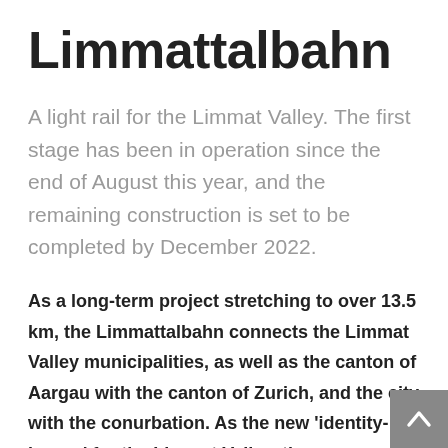Limmattalbahn
A light rail for the Limmat Valley. The first stage has been in operation since the end of August this year, and the remaining construction is set to be completed by December 2022.
As a long-term project stretching to over 13.5 km, the Limmattalbahn connects the Limmat Valley municipalities, as well as the canton of Aargau with the canton of Zurich, and the city with the conurbation. As the new ‘identity-bearer’ for the Limmat Valley, the Limmattalbahn represents the